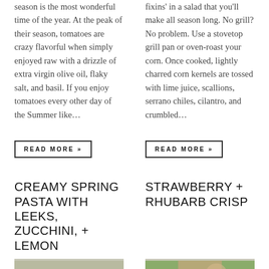season is the most wonderful time of the year. At the peak of their season, tomatoes are crazy flavorful when simply enjoyed raw with a drizzle of extra virgin olive oil, flaky salt, and basil. If you enjoy tomatoes every other day of the Summer like…
fixins’ in a salad that you’ll make all season long. No grill? No problem. Use a stovetop grill pan or oven-roast your corn. Once cooked, lightly charred corn kernels are tossed with lime juice, scallions, serrano chiles, cilantro, and crumbled…
READ MORE »
READ MORE »
CREAMY SPRING PASTA WITH LEEKS, ZUCCHINI, + LEMON
STRAWBERRY + RHUBARB CRISP
[Figure (photo): Food photo showing pasta dish with leeks and zucchini in a bowl]
[Figure (photo): Outdoor photo showing strawberry rhubarb with person in background]